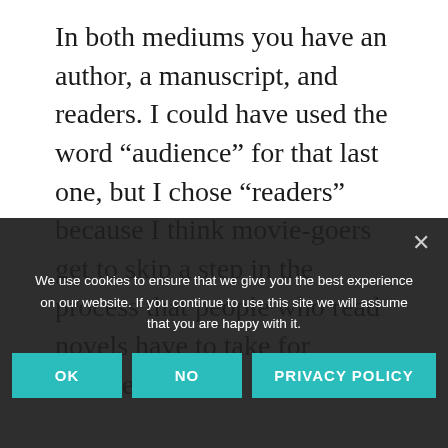In both mediums you have an author, a manuscript, and readers. I could have used the word “aucience” for that last one, but I chose “readers” because I think movie-goers get to skip a step in the process that people who read novels have to take for themselves.

Authors in both formats must subject their ideas to interpretation. In film, a host of different mediators interpret various aspects of the script—lines of dialogue to lines of description, each bringing to the work their own experiences and
We use cookies to ensure that we give you the best experience on our website. If you continue to use this site we will assume that you are happy with it.